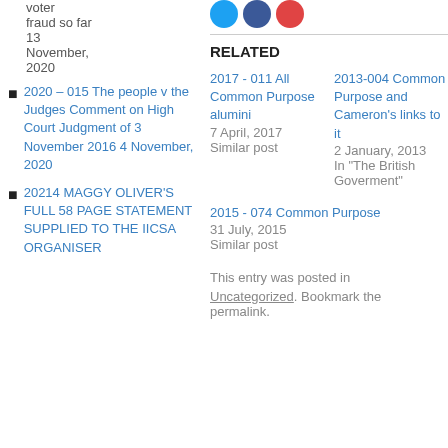US voter fraud so far 13 November, 2020
2020 – 015 The people v the Judges Comment on High Court Judgment of 3 November 2016 4 November, 2020
20214 MAGGY OLIVER'S FULL 58 PAGE STATEMENT SUPPLIED TO THE IICSA ORGANISER
RELATED
2017 - 011 All Common Purpose alumini
7 April, 2017
Similar post
2013-004 Common Purpose and Cameron's links to it
2 January, 2013
In "The British Goverment"
2015 - 074 Common Purpose
31 July, 2015
Similar post
This entry was posted in
Uncategorized. Bookmark the permalink.